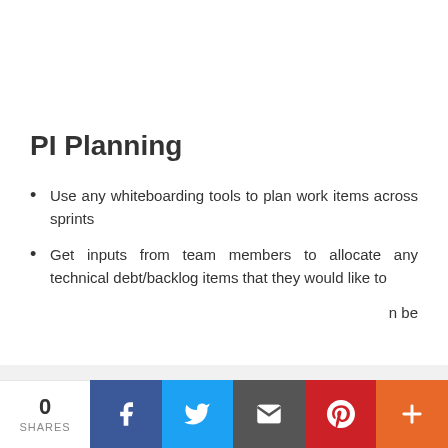PI Planning
Use any whiteboarding tools to plan work items across sprints
Get inputs from team members to allocate any technical debt/backlog items that they would like to [address] [— can be …]
This website uses cookies to ensure you get the best experience on our website.
Learn more
Got it!
0 SHARES [Facebook] [Twitter] [Email] [Pinterest] [More]